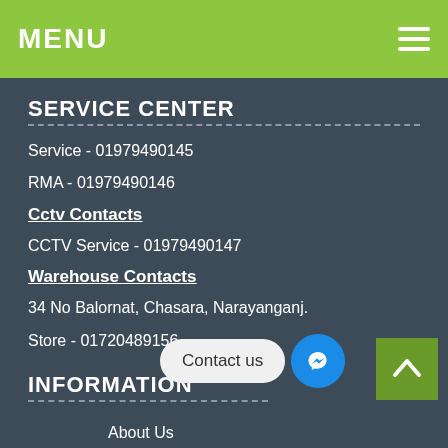MENU
SERVICE CENTER
Service - 01979490145
RMA - 01979490146
Cctv Contacts
CCTV Service - 01979490147
Warehouse Contacts
34 No Balornat, Chasara, Narayanganj.
Store - 01720489156
INFORMATION
About Us
Delivery
Privacy Policy
Terms & Conditions